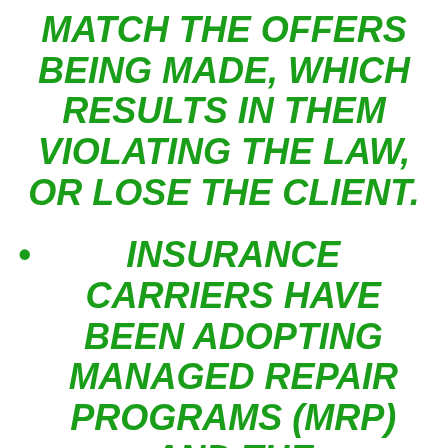MATCH THE OFFERS BEING MADE, WHICH RESULTS IN THEM VIOLATING THE LAW, OR LOSE THE CLIENT.
INSURANCE CARRIERS HAVE BEEN ADOPTING MANAGED REPAIR PROGRAMS (MRP) AND THE CONTRACTORS ASSOCIATED WITH THEM TO VIOLATE STATE LAWS-IN THE